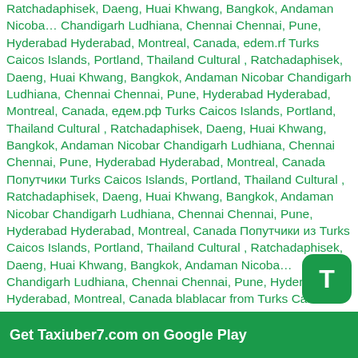Ratchadaphisek, Daeng, Huai Khwang, Bangkok, Andaman Nicobar Chandigarh Ludhiana, Chennai Chennai, Pune, Hyderabad Hyderabad, Montreal, Canada, edem.rf Turks Caicos Islands, Portland, Thailand Cultural , Ratchadaphisek, Daeng, Huai Khwang, Bangkok, Andaman Nicobar Chandigarh Ludhiana, Chennai Chennai, Pune, Hyderabad Hyderabad, Montreal, Canada, едем.рф Turks Caicos Islands, Portland, Thailand Cultural , Ratchadaphisek, Daeng, Huai Khwang, Bangkok, Andaman Nicobar Chandigarh Ludhiana, Chennai Chennai, Pune, Hyderabad Hyderabad, Montreal, Canada Попутчики Turks Caicos Islands, Portland, Thailand Cultural , Ratchadaphisek, Daeng, Huai Khwang, Bangkok, Andaman Nicobar Chandigarh Ludhiana, Chennai Chennai, Pune, Hyderabad Hyderabad, Montreal, Canada Попутчики из Turks Caicos Islands, Portland, Thailand Cultural , Ratchadaphisek, Daeng, Huai Khwang, Bangkok, Andaman Nicobar Chandigarh Ludhiana, Chennai Chennai, Pune, Hyderabad Hyderabad, Montreal, Canada blablacar from Turks Caicos Islands, Portland, Thailand Cultural , Ratchadaphisek, Daeng, Huai Khwang, Bangkok, Andaman Nicobar Chandigarh Ludhiana, Chennai Chennai, Pune, Hyderabad Hyderabad, Montreal, Canada to Blablabus Turks Caicos Islands, Portland, Thailand Cultural , Ratchadaphisek, Daeng, Huai Khwang, Bangkok, Andaman Nicobar Chandigarh Ludhiana, Chennai Chennai, Pune, Hyderabad Hyderabad, Montreal, Canada, Blablataxi Turks Caicos Islands, Portland, Thailand Cultural , Ratchadaphisek, Daeng, Huai Khwang, Bangkok, Andaman Nicobar Chandigarh Ludhiana, Chennai
[Figure (logo): Green rounded square badge with letter T]
Get Taxiuber7.com on Google Play